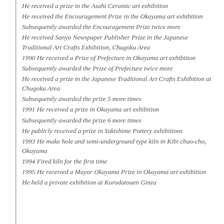He received a prize in the Asahi Ceramic art exhibition
He received the Encouragement Prize in the Okayama art exhibition
Subsequently awarded the Encouragement Prize twice more
He received Sanyo Newspaper Publisher Prize in the Japanese Traditional Art Crafts Exhibition, Chugoku Area
1990 He received a Prize of Prefecture in Okayama art exhibition
Subsequently awarded the Prize of Prefecture twice more
He received a prize in the Japanese Traditional Art Crafts Exhibition at Chugoku Area
Subsequently awarded the prize 5 more times
1991 He received a prize in Okayama art exhibition
Subsequently awarded the prize 6 more times
He publicly received a prize in Yakishime Pottery exhibitions
1993 He make hole and semi-underground type kiln in Kibi chuo-cho, Okayama
1994 Fired kiln for the first time
1995 He received a Mayor Okayama Prize in Okayama art exhibition
He held a private exhibition at Kurodatouen Ginza